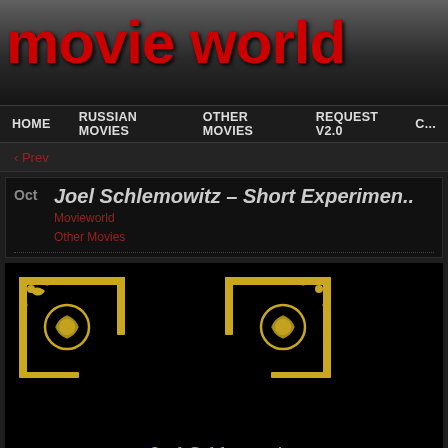movie world
HOME  RUSSIAN MOVIES  OTHER MOVIES  REQUEST V2.0  C...
‹ Prev
Joel Schlemowitz – Short Experimen...
Movieworld
Other Movies
[Figure (illustration): Two decorative golden ornamental corner bracket designs on black background with scrollwork and floral motifs]
Joel Schlemowitz
short experimental films